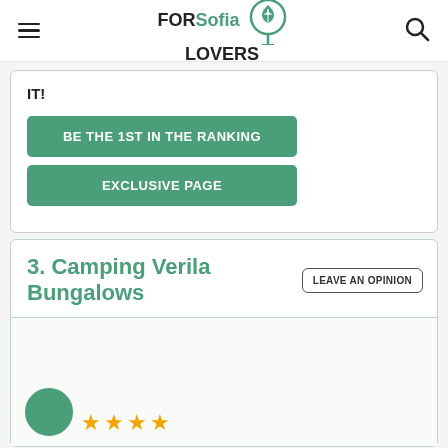FORSofia LOVERS
IT!
BE THE 1ST IN THE RANKING
EXCLUSIVE PAGE
3. Camping Verila Bungalows
LEAVE AN OPINION